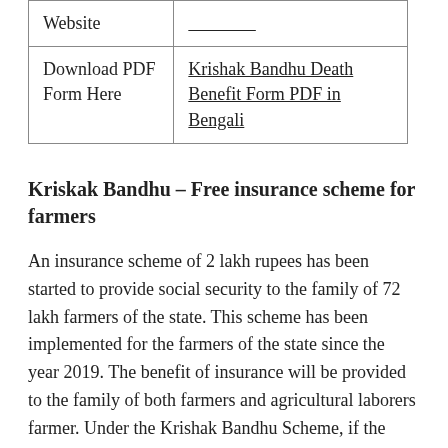| Website |  |
| Download PDF Form Here | Krishak Bandhu Death Benefit Form PDF in Bengali |
Kriskak Bandhu – Free insurance scheme for farmers
An insurance scheme of 2 lakh rupees has been started to provide social security to the family of 72 lakh farmers of the state. This scheme has been implemented for the farmers of the state since the year 2019. The benefit of insurance will be provided to the family of both farmers and agricultural laborers farmer. Under the Krishak Bandhu Scheme, if the farmer of the state dies due to any natural or unnatural accidental accident, then the family of the